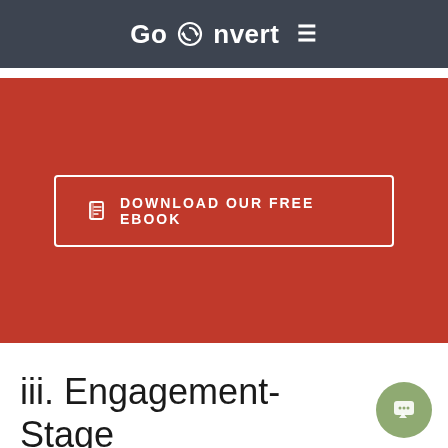GoConvert ≡
[Figure (screenshot): Red banner with a white-bordered button reading 'DOWNLOAD OUR FREE EBOOK' with a book icon]
iii. Engagement-Stage